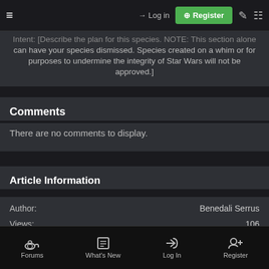≡  → Log in  [+] Register
Intent: [Describe the plan for this species. NOTE: This section alone can have your species dismissed. Species created on a whim or for purposes to undermine the integrity of Star Wars will not be approved.]
Comments
There are no comments to display.
Article Information
Author: Benedali Serrus
Views: 106
Last update: Sep 30, 2015
Forums  What's New  Log In  Register